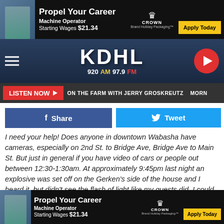[Figure (screenshot): Top advertisement banner: Propel Your Career - Machine Operator, Starting Wages $21.34, Crown brand logo, Apply Today button]
[Figure (logo): KDHL 920 AM 97.9 FM radio station header with hamburger menu and play button]
LISTEN NOW ▶  ON THE FARM WITH JERRY GROSKREUTZ  MORN
[Figure (screenshot): Facebook Share button]
[Figure (screenshot): Twitter Tweet button]
I need your help! Does anyone in downtown Wabasha have cameras, especially on 2nd St. to Bridge Ave, Bridge Ave to Main St. But just in general if you have video of cars or people out between 12:30-1:30am. At approximately 9:45pm last night an explosive was set off on the Gerken's side of the house and I heard it, but didn't see the flash of light like my guests did. I could smell it by my driveway behind my vehicle, but when I went up and down the street and even towards Gerken's, I couldn't smell it.
[Figure (screenshot): Bottom advertisement banner: Propel Your Career - Machine Operator, Starting Wages $21.34, Crown brand logo, Apply Today button]